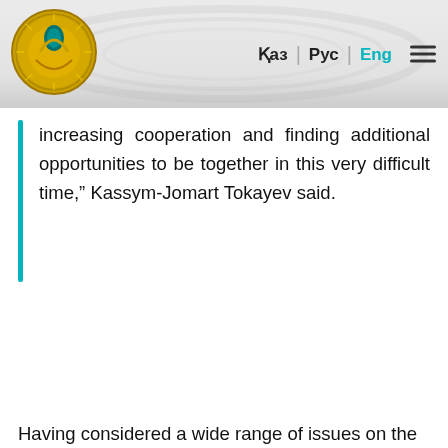Қаз | Рус | Eng
increasing cooperation and finding additional opportunities to be together in this very difficult time,” Kassym-Jomart Tokayev said.
Having considered a wide range of issues on the